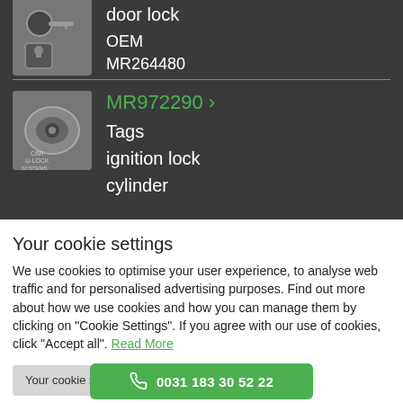[Figure (photo): Photo of a car key and door lock]
door lock
OEM MR264480
[Figure (photo): Photo of an ignition lock cylinder]
MR972290 >
Tags ignition lock cylinder
Your cookie settings
We use cookies to optimise your user experience, to analyse web traffic and for personalised advertising purposes. Find out more about how we use cookies and how you can manage them by clicking on "Cookie Settings". If you agree with our use of cookies, click "Accept all". Read More
Your cookie settings | Accept All
0031 183 30 52 22